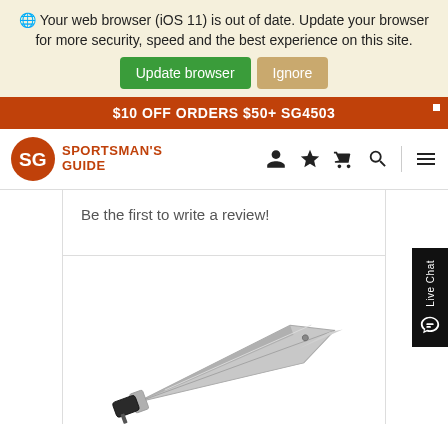Your web browser (iOS 11) is out of date. Update your browser for more security, speed and the best experience on this site. [Update browser] [Ignore]
$10 OFF ORDERS $50+ SG4503
[Figure (logo): Sportsman's Guide logo with orange SG circular icon and text]
Be the first to write a review!
[Figure (photo): A folding pocket knife with a silver blade and dark handle, partially open, shown against a white background]
[Figure (other): Live Chat widget on right side]